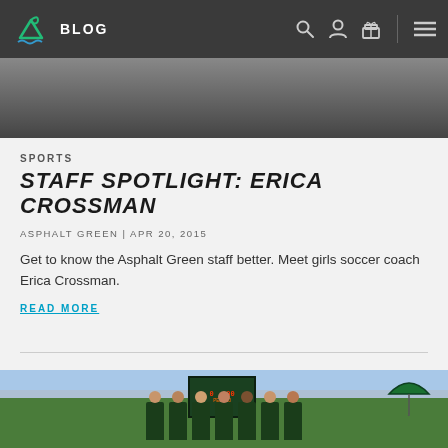BLOG
[Figure (photo): Partial photo at top of page (cropped, showing dark clothing of person)]
SPORTS
STAFF SPOTLIGHT: ERICA CROSSMAN
ASPHALT GREEN | APR 20, 2015
Get to know the Asphalt Green staff better. Meet girls soccer coach Erica Crossman.
READ MORE
[Figure (photo): Group of people in green Asphalt Green Sports shirts on a sports field, scoreboard visible in background, person holding green umbrella on right]